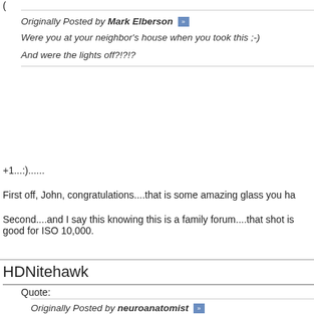(
Originally Posted by Mark Elberson »
Were you at your neighbor's house when you took this ;-)
And were the lights off?!?!?
+1...:)......
First off, John, congratulations....that is some amazing glass you ha
Second....and I say this knowing this is a family forum....that shot is good for ISO 10,000.
HDNitehawk
Quote:
Originally Posted by neuroanatomist »
A candid picture of my daughter, the first shot taken with my ne
EOS 1D X, EF 600mm f/4L IS II USM, 1/160 s, f/4, ISO 10000